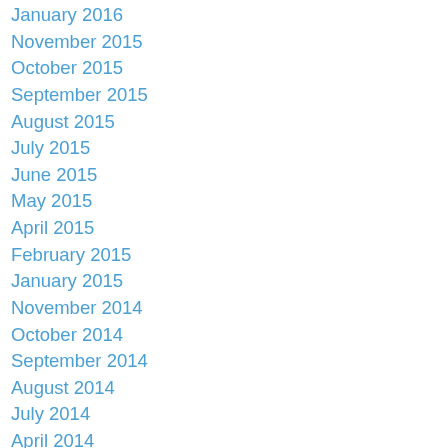January 2016
November 2015
October 2015
September 2015
August 2015
July 2015
June 2015
May 2015
April 2015
February 2015
January 2015
November 2014
October 2014
September 2014
August 2014
July 2014
April 2014
March 2014
February 2014
January 2014
December 2013